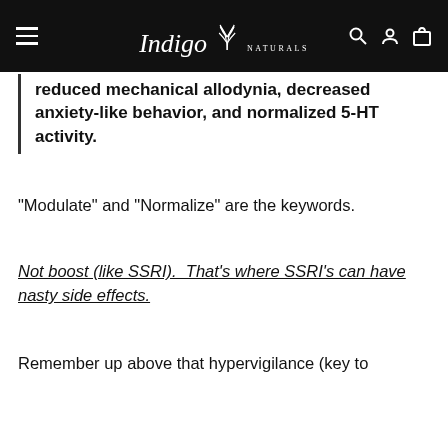Indigo Naturals
reduced mechanical allodynia, decreased anxiety-like behavior, and normalized 5-HT activity.
"Modulate" and "Normalize" are the keywords.
Not boost (like SSRI). That's where SSRI's can have nasty side effects.
Remember up above that hypervigilance (key to